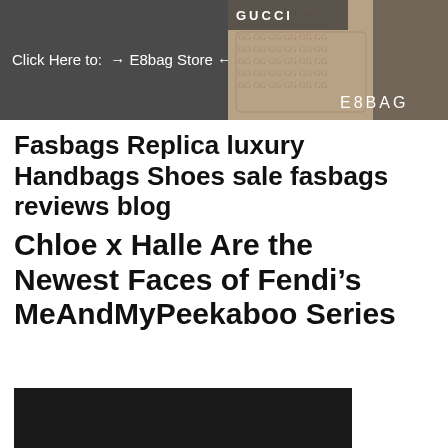Click Here to: → E8bag Store ←
[Figure (photo): E8BAG store banner with Gucci patterned handbag and E8BAG logo text on dark background]
Fasbags Replica luxury Handbags Shoes sale fasbags reviews blog
Chloe x Halle Are the Newest Faces of Fendi's MeAndMyPeekaboo Series
[Figure (photo): Dark/black image - article featured image, mostly black]